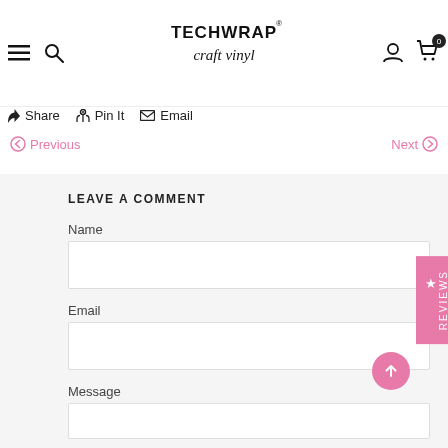TechWrap craft vinyl — navigation header with hamburger menu, search, logo, user icon, cart (0)
Share   Pin It   Email
Previous   Next
LEAVE A COMMENT
Name
Email
Message